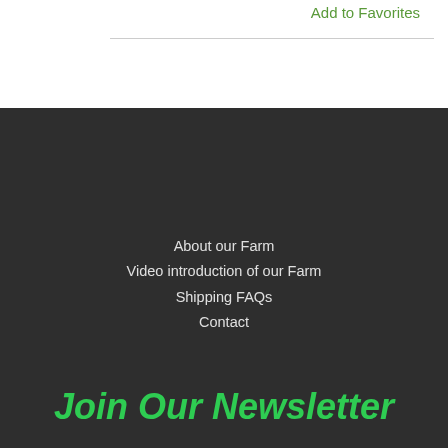Add to Favorites
About our Farm
Video introduction of our Farm
Shipping FAQs
Contact
Join Our Newsletter
First Name
Last Name
enter your email
Sign up